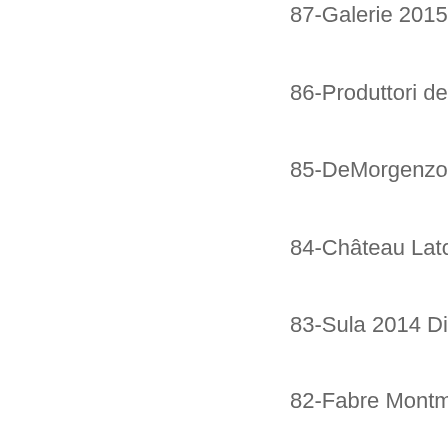87-Galerie 2015 Terracea Riesling
86-Produttori del Barbaresco 201...
85-DeMorgenzon 2014 Reserve C...
84-Château Latour-Martillac 2013
83-Sula 2014 Dindori Reserve Sh...
82-Fabre Montmayou 2013 Gran
81-Wölffer 2015 Descencia Botry...
80-Jean-Marc Brocard 2015 Mont...
79-Kopke 1984 Colheita Tawny (P...
78-Syncline 2013 McKinley Spring...
77-Domaine Sigalas 2014 Kavalie...
76-Neyers 2014 Left Bank Red (N...
75-González Byass NV ... ur...
74-Langmeil 2013 The Fifth Wave...